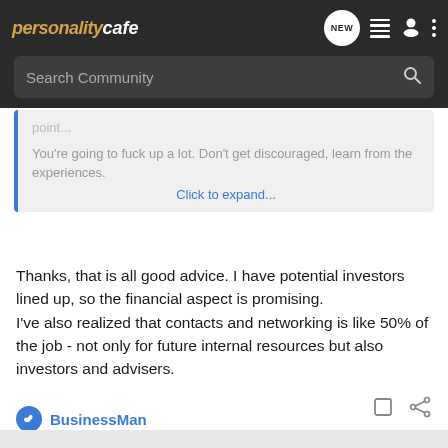personalitycafe — Search Community
point...

You're going to fuck up a lot. Don't get discouraged, learn from the experiences.

Click to expand...
Thanks, that is all good advice. I have potential investors lined up, so the financial aspect is promising.
I've also realized that contacts and networking is like 50% of the job - not only for future internal resources but also investors and advisers.
BusinessMan